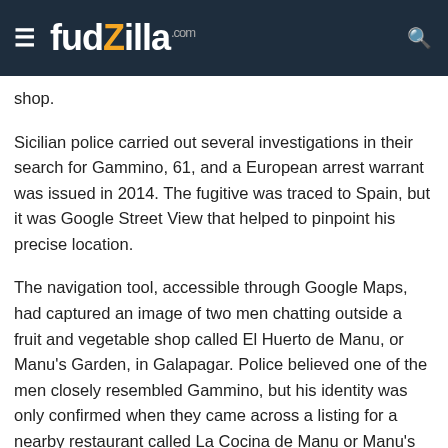fudzilla.com
shop.
Sicilian police carried out several investigations in their search for Gammino, 61, and a European arrest warrant was issued in 2014. The fugitive was traced to Spain, but it was Google Street View that helped to pinpoint his precise location.
The navigation tool, accessible through Google Maps, had captured an image of two men chatting outside a fruit and vegetable shop called El Huerto de Manu, or Manu's Garden, in Galapagar. Police believed one of the men closely resembled Gammino, but his identity was only confirmed when they came across a listing for a nearby restaurant called La Cocina de Manu or Manu's Kitchen.